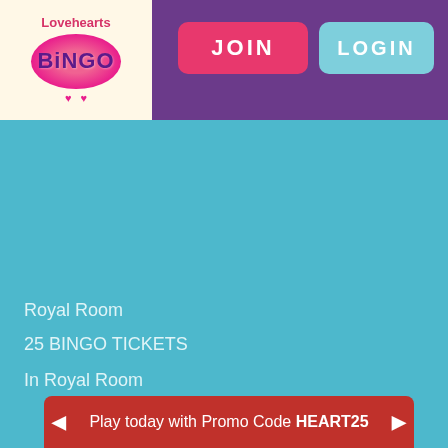[Figure (logo): Lovehearts Bingo logo with pink heart background and decorative hearts on cream/light yellow background]
JOIN
LOGIN
Royal Room
25 BINGO TICKETS
In Royal Room
Play today with Promo Code HEART25